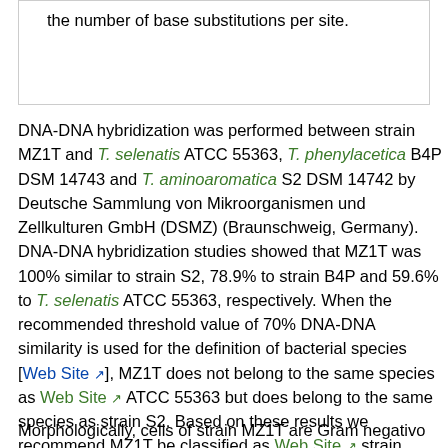the number of base substitutions per site.
DNA-DNA hybridization was performed between strain MZ1T and T. selenatis ATCC 55363, T. phenylacetica B4P DSM 14743 and T. aminoaromatica S2 DSM 14742 by Deutsche Sammlung von Mikroorganismen und Zellkulturen GmbH (DSMZ) (Braunschweig, Germany). DNA-DNA hybridization studies showed that MZ1T was 100% similar to strain S2, 78.9% to strain B4P and 59.6% to T. selenatis ATCC 55363, respectively. When the recommended threshold value of 70% DNA-DNA similarity is used for the definition of bacterial species [Web Site], MZ1T does not belong to the same species as Web Site ATCC 55363 but does belong to the same species as strain S2. Based on these results we recommend MZ1T be classified as Web Site strain MZ1T.
Morphologically, cells of strain MZ1T are Gram negative